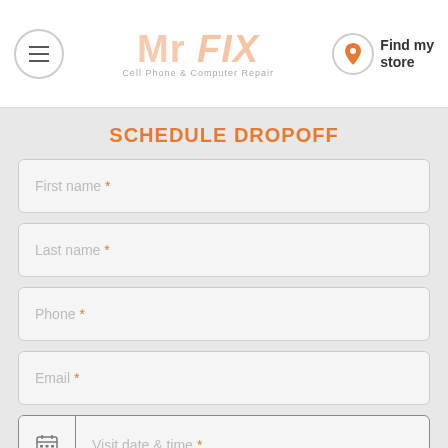Mr FIX — Cell Phone & Computer Repair — Find my store
SCHEDULE DROPOFF
First name *
Last name *
Phone *
Email *
Visit date & time *
Additional information